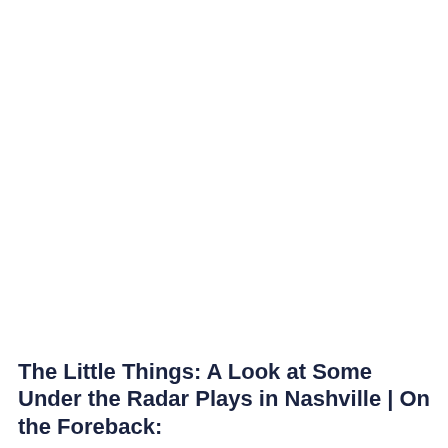The Little Things: A Look at Some Under the Radar Plays in Nashville | On the Foreback: